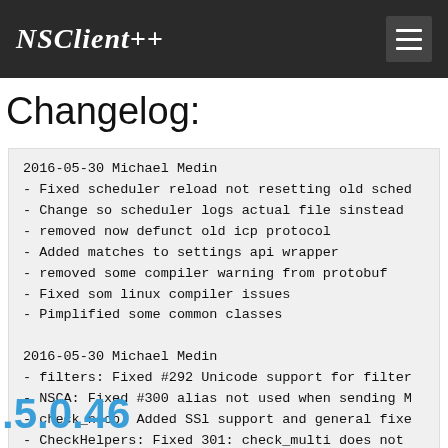NSClient++
Changelog:
2016-05-30 Michael Medin
- Fixed scheduler reload not resetting old sched
- Change so scheduler logs actual file sinstead
- removed now defunct old icp protocol
- Added matches to settings api wrapper
- removed some compiler warning from protobuf
- Fixed som linux compiler issues
- Pimplified some common classes

2016-05-30 Michael Medin
- filters: Fixed #292 Unicode support for filter
- NSCA: Fixed #300 alias not used when sending M
- check_nscp: Added SSl support and general fixe
- CheckHelpers: Fixed 301: check_multi does not
.5.0.46